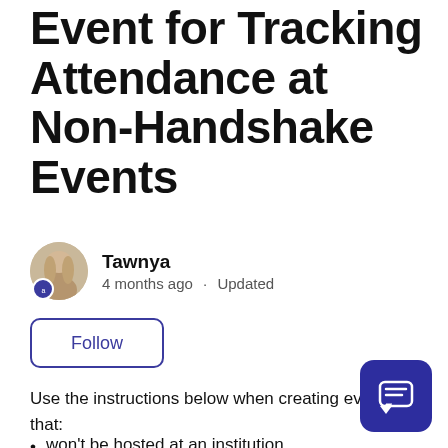Event for Tracking Attendance at Non-Handshake Events
Tawnya
4 months ago · Updated
Follow
Use the instructions below when creating events that:
won't be hosted at an institution
may be hosted in partnership with a non-